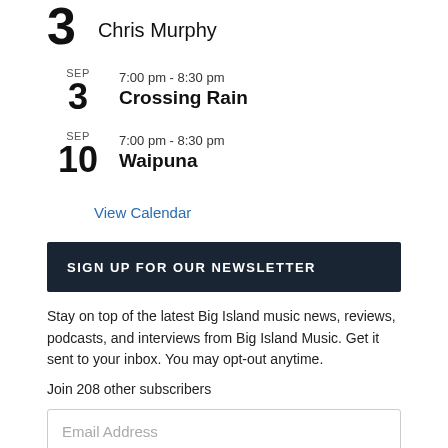3  Chris Murphy
SEP 3  7:00 pm - 8:30 pm  Crossing Rain
SEP 10  7:00 pm - 8:30 pm  Waipuna
View Calendar
SIGN UP FOR OUR NEWSLETTER
Stay on top of the latest Big Island music news, reviews, podcasts, and interviews from Big Island Music. Get it sent to your inbox. You may opt-out anytime.
Join 208 other subscribers
Email Address